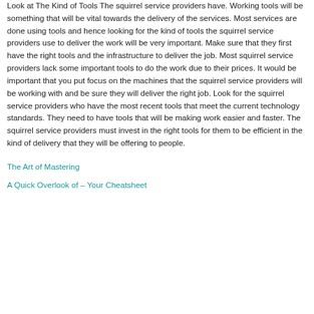Look at The Kind of Tools The squirrel service providers have. Working tools will be something that will be vital towards the delivery of the services. Most services are done using tools and hence looking for the kind of tools the squirrel service providers use to deliver the work will be very important. Make sure that they first have the right tools and the infrastructure to deliver the job. Most squirrel service providers lack some important tools to do the work due to their prices. It would be important that you put focus on the machines that the squirrel service providers will be working with and be sure they will deliver the right job. Look for the squirrel service providers who have the most recent tools that meet the current technology standards. They need to have tools that will be making work easier and faster. The squirrel service providers must invest in the right tools for them to be efficient in the kind of delivery that they will be offering to people.
The Art of Mastering
A Quick Overlook of – Your Cheatsheet